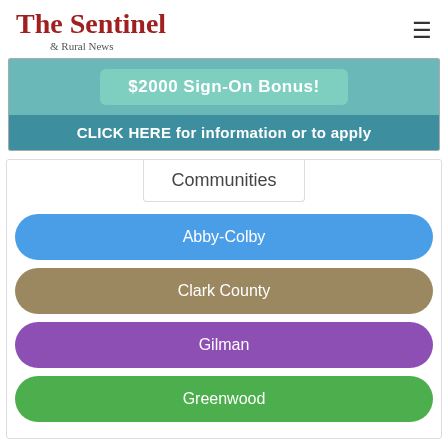The Sentinel & Rural News
[Figure (infographic): Advertisement banner with teal background showing '$2000 Sign-On Bonus!' and 'CLICK HERE for information or to apply']
Communities
Abby-Colby
Clark County
Gilman
Greenwood